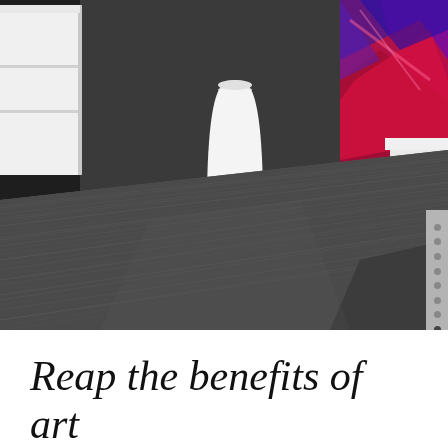[Figure (photo): Interior room photo showing a dark grey striped hardwood floor with perspective view. White furniture (dresser/cabinet) on the left, a tall white vase in the background center, colorful abstract artwork (red/blue/purple) on the right side, and a white platform bed partially visible on the far right. Navigation dots visible along the right edge.]
Reap the benefits of art in your world